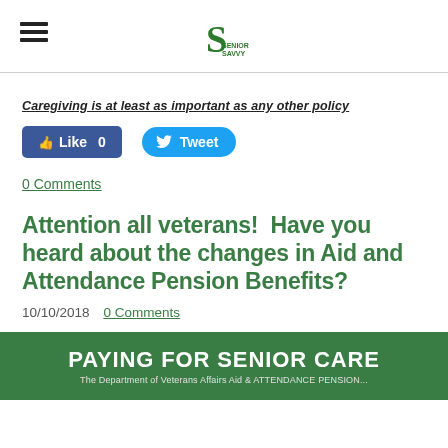Senior Savvy logo with hamburger menu
Caregiving is at least as important as any other policy
[Figure (other): Facebook Like button showing Like 0 and Twitter Tweet button]
0 Comments
Attention all veterans!  Have you heard about the changes in Aid and Attendance Pension Benefits?
10/10/2018  0 Comments
[Figure (other): Banner image reading PAYING FOR SENIOR CARE with subtitle about the Department of Veterans Affairs Aid & Attendance Pension]